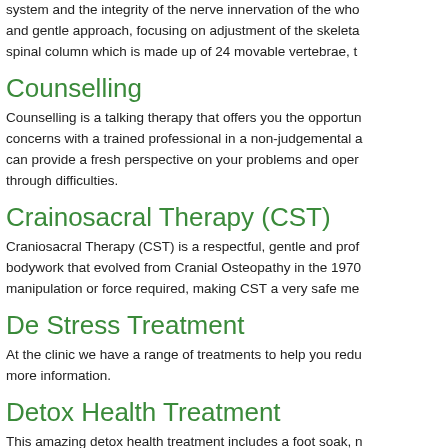system and the integrity of the nerve innervation of the whole body. A natural and gentle approach, focusing on adjustment of the skeletal system, primarily the spinal column which is made up of 24 movable vertebrae, the
Counselling
Counselling is a talking therapy that offers you the opportunity to discuss your concerns with a trained professional in a non-judgemental and safe place. It can provide a fresh perspective on your problems and open up possibilities through difficulties.
Crainosacral Therapy (CST)
Craniosacral Therapy (CST) is a respectful, gentle and professional form of bodywork that evolved from Cranial Osteopathy in the 1970s. There is no manipulation or force required, making CST a very safe me
De Stress Treatment
At the clinic we have a range of treatments to help you redu more information.
Detox Health Treatment
This amazing detox health treatment includes a foot soak, n abdominal clay mask treatment, full body lymphatic drainag detoxifying aromatherapy oils.